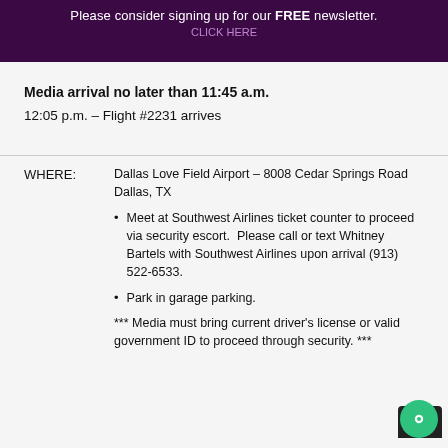Please consider signing up for our FREE newsletter.
Media arrival no later than 11:45 a.m.
12:05 p.m. – Flight #2231 arrives
WHERE:	Dallas Love Field Airport – 8008 Cedar Springs Road Dallas, TX
Meet at Southwest Airlines ticket counter to proceed via security escort.  Please call or text Whitney Bartels with Southwest Airlines upon arrival (913) 522-6533.
Park in garage parking.
*** Media must bring current driver's license or valid government ID to proceed through security. ***